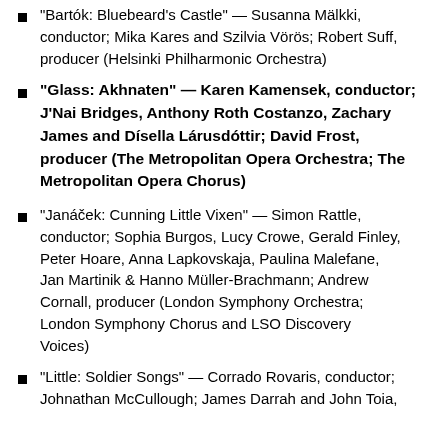Bartók: Bluebeard's Castle — Susanna Mälkki, conductor; Mika Kares and Szilvia Vörös; Robert Suff, producer (Helsinki Philharmonic Orchestra)
"Glass: Akhnaten" — Karen Kamensek, conductor; J'Nai Bridges, Anthony Roth Costanzo, Zachary James and Dísella Lárusdóttir; David Frost, producer (The Metropolitan Opera Orchestra; The Metropolitan Opera Chorus)
"Janáček: Cunning Little Vixen" — Simon Rattle, conductor; Sophia Burgos, Lucy Crowe, Gerald Finley, Peter Hoare, Anna Lapkovskaja, Paulina Malefane, Jan Martinik & Hanno Müller-Brachmann; Andrew Cornall, producer (London Symphony Orchestra; London Symphony Chorus and LSO Discovery Voices)
"Little: Soldier Songs" — Corrado Rovaris, conductor; Johnathan McCullough; James Darrah and John Toia,